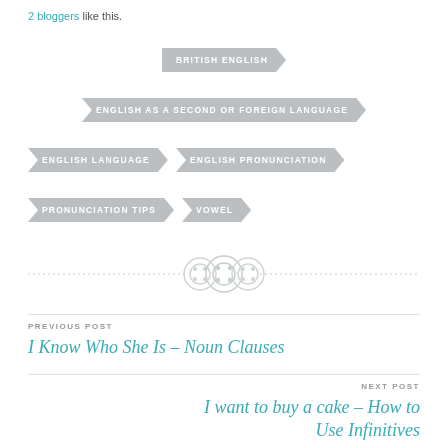2 bloggers like this.
BRITISH ENGLISH
ENGLISH AS A SECOND OR FOREIGN LANGUAGE
ENGLISH LANGUAGE
ENGLISH PRONUNCIATION
PRONUNCIATION TIPS
VOWEL
[Figure (illustration): Three decorative button/gear icons arranged horizontally with a dotted divider line]
PREVIOUS POST
I Know Who She Is – Noun Clauses
NEXT POST
I want to buy a cake – How to Use Infinitives